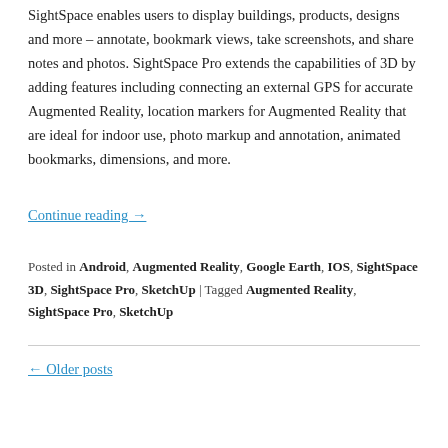SightSpace enables users to display buildings, products, designs and more – annotate, bookmark views, take screenshots, and share notes and photos. SightSpace Pro extends the capabilities of 3D by adding features including connecting an external GPS for accurate Augmented Reality, location markers for Augmented Reality that are ideal for indoor use, photo markup and annotation, animated bookmarks, dimensions, and more.
Continue reading →
Posted in Android, Augmented Reality, Google Earth, IOS, SightSpace 3D, SightSpace Pro, SketchUp | Tagged Augmented Reality, SightSpace Pro, SketchUp
← Older posts